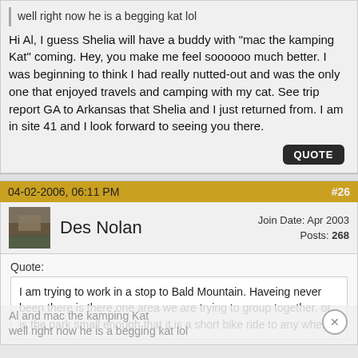well right now he is a begging kat lol
Hi Al, I guess Shelia will have a buddy with "mac the kamping Kat" coming. Hey, you make me feel soooooo much better. I was beginning to think I had really nutted-out and was the only one that enjoyed travels and camping with my cat. See trip report GA to Arkansas that Shelia and I just returned from. I am in site 41 and I look forward to seeing you there.
04-02-2006, 06:11 PM   #26
Des Nolan   Join Date: Apr 2003   Posts: 268
Quote: I am trying to work in a stop to Bald Mountain. Haveing never been there is there one area we are trying to group together. or is the park small enough that it is a short bike ride to any where.